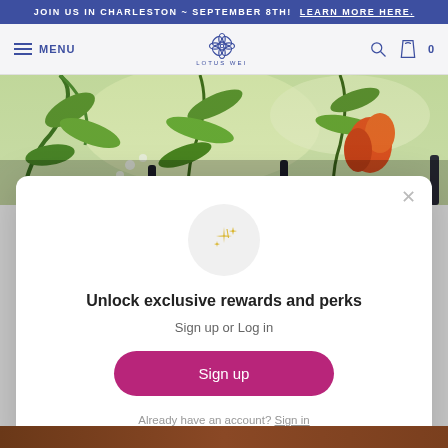JOIN US IN CHARLESTON ~ SEPTEMBER 8TH! LEARN MORE HERE.
[Figure (screenshot): Navigation bar with hamburger menu, MENU text, Lotus Wei floral logo, search icon, and shopping bag icon with 0 count]
[Figure (photo): Hero photo of green plants, leaves, and an orange flower with bottles visible in the foreground]
[Figure (infographic): Modal popup overlay with sparkle icon, unlock rewards message, sign up button, and sign in link]
Unlock exclusive rewards and perks
Sign up or Log in
Sign up
Already have an account? Sign in